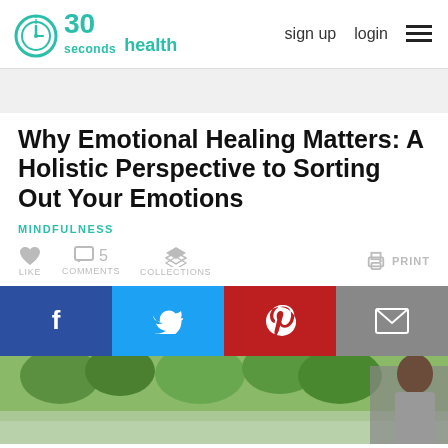30 seconds health | sign up | login
Why Emotional Healing Matters: A Holistic Perspective to Sorting Out Your Emotions
MINDFULNESS
LIKE   5 COMMENTS   COLLECTIONS   PRINT
[Figure (screenshot): Social share buttons: Facebook (blue), Twitter (light blue), Pinterest (red), Email (gray)]
[Figure (photo): Outdoor park scene with trees and water, man visible on right side in foreground]